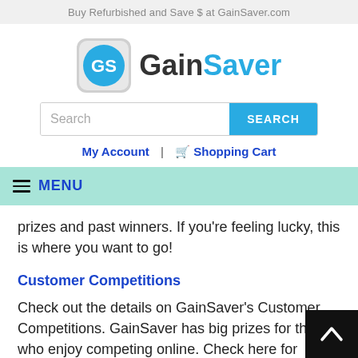Buy Refurbished and Save $ at GainSaver.com
[Figure (logo): GainSaver logo with circular GS icon and GainSaver text]
Search
My Account | Shopping Cart
MENU
prizes and past winners. If you're feeling lucky, this is where you want to go!
Customer Competitions
Check out the details on GainSaver's Customer Competitions. GainSaver has big prizes for those who enjoy competing online. Check here for competition details, ho to enter and tips for winning.